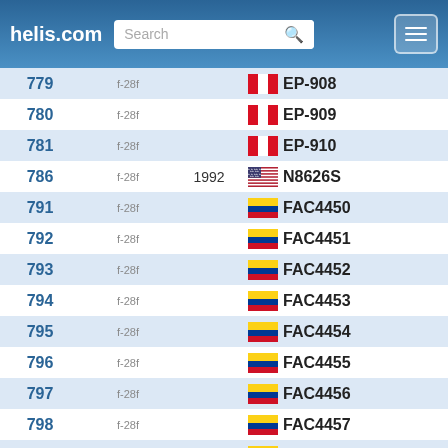helis.com
| # | Type | Year | Registration |
| --- | --- | --- | --- |
| 779 | f-28f |  | EP-908 |
| 780 | f-28f |  | EP-909 |
| 781 | f-28f |  | EP-910 |
| 786 | f-28f | 1992 | N8626S |
| 791 | f-28f |  | FAC4450 |
| 792 | f-28f |  | FAC4451 |
| 793 | f-28f |  | FAC4452 |
| 794 | f-28f |  | FAC4453 |
| 795 | f-28f |  | FAC4454 |
| 796 | f-28f |  | FAC4455 |
| 797 | f-28f |  | FAC4456 |
| 798 | f-28f |  | FAC4457 |
| 799 | f-28f |  | FAC4458 |
| 800 | f-28f |  | FAC4459 |
| 801 | f-28f |  | FAC4460 |